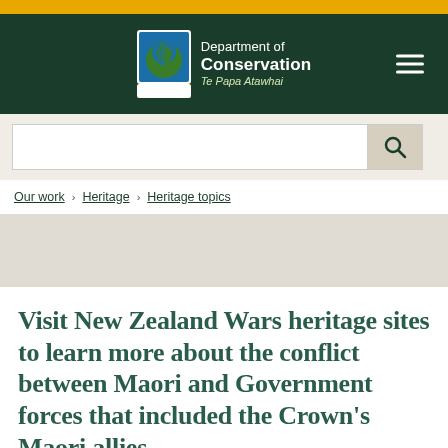Department of Conservation Te Papa Atawhai
Our work > Heritage > Heritage topics
Visit New Zealand Wars heritage sites to learn more about the conflict between Maori and Government forces that included the Crown’s Maori allies
The New Zealand Wars…